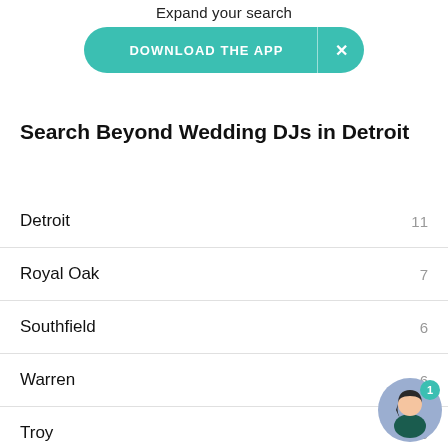Expand your search
[Figure (screenshot): Teal Download the App banner button with X close button]
Search Beyond Wedding DJs in Detroit
Detroit 11
Royal Oak 7
Southfield 6
Warren 6
Troy 5
Clinton Township